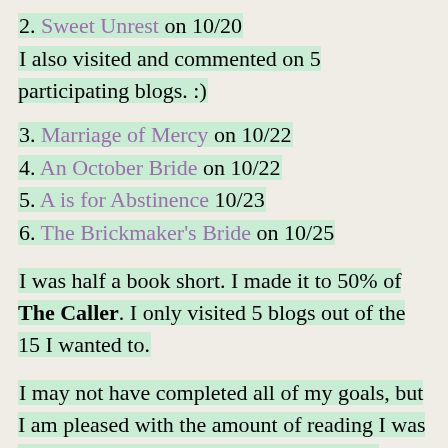2. Sweet Unrest on 10/20
I also visited and commented on 5 participating blogs. :)
3. Marriage of Mercy on 10/22
4. An October Bride on 10/22
5. A is for Abstinence 10/23
6. The Brickmaker's Bride on 10/25
I was half a book short. I made it to 50% of The Caller. I only visited 5 blogs out of the 15 I wanted to.
I may not have completed all of my goals, but I am pleased with the amount of reading I was able to do. I will be finishing The Caller within the next few days.